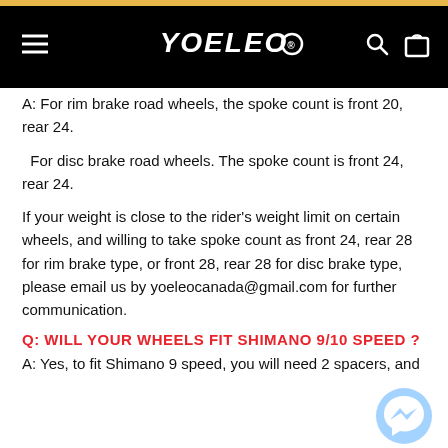YOELEO (navigation header)
A: For rim brake road wheels, the spoke count is front 20, rear 24.
For disc brake road wheels. The spoke count is front 24, rear 24.
If your weight is close to the rider's weight limit on certain wheels, and willing to take spoke count as front 24, rear 28 for rim brake type, or front 28, rear 28 for disc brake type, please email us by yoeleocanada@gmail.com for further communication.
Q: WILL YOUR WHEELS FIT SHIMANO 9/10 SPEED ?
A: Yes, to fit Shimano 9 speed, you will need 2 spacers, and